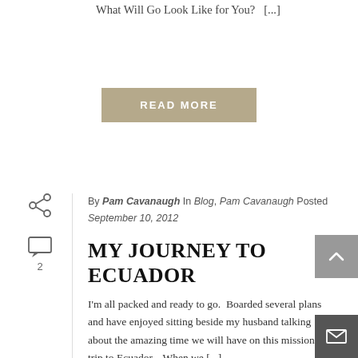What Will Go Look Like for You?   [...]
READ MORE
By Pam Cavanaugh  In Blog, Pam Cavanaugh  Posted September 10, 2012
MY JOURNEY TO ECUADOR
I'm all packed and ready to go.  Boarded several plans and have enjoyed sitting beside my husband talking about the amazing time we will have on this mission trip to Ecuador.   When we [...]